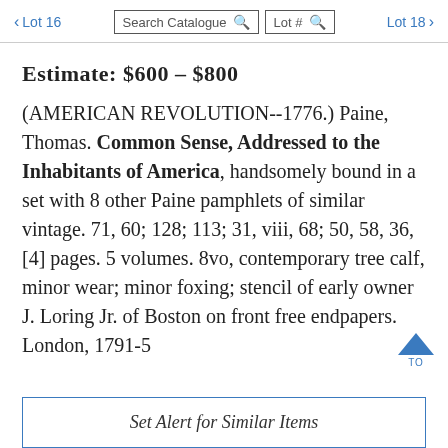< Lot 16   Search Catalogue   Lot #   Lot 18 >
Estimate: $600 – $800
(AMERICAN REVOLUTION--1776.) Paine, Thomas. Common Sense, Addressed to the Inhabitants of America, handsomely bound in a set with 8 other Paine pamphlets of similar vintage. 71, 60; 128; 113; 31, viii, 68; 50, 58, 36, [4] pages. 5 volumes. 8vo, contemporary tree calf, minor wear; minor foxing; stencil of early owner J. Loring Jr. of Boston on front free endpapers. London, 1791-5
Set Alert for Similar Items